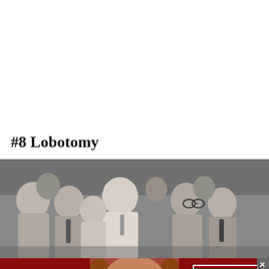#8 Lobotomy
[Figure (photo): Black and white historical photograph showing a group of men in suits gathered around a bald man performing or observing a medical procedure, likely a lobotomy demonstration.]
[Figure (photo): Macy's advertisement banner with dark red background showing a woman's face with red lips. Text reads: KISS BORING LIPS GOODBYE on the left, and SHOP NOW with Macy's star logo on the right.]